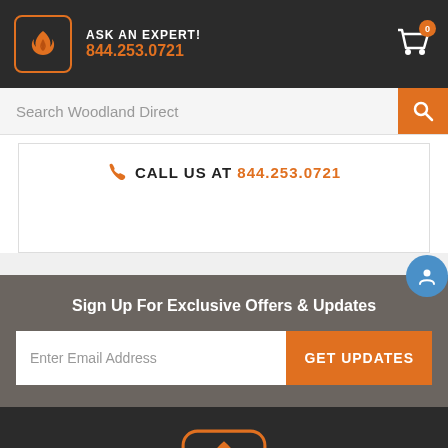ASK AN EXPERT! 844.253.0721
Search Woodland Direct
CALL US AT 844.253.0721
Sign Up For Exclusive Offers & Updates
Enter Email Address
GET UPDATES
[Figure (logo): Woodland Direct flame logo in footer]
LEARN. SHOP. ENJOY.